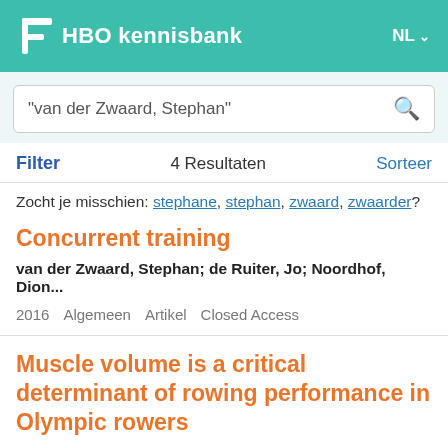HBO kennisbank  NL
"van der Zwaard, Stephan"
Filter   4 Resultaten   Sorteer
Zocht je misschien: stephane, stephan, zwaard, zwaarder?
Concurrent training
van der Zwaard, Stephan; de Ruiter, Jo; Noordhof, Dion...
2016   Algemeen   Artikel   Closed Access
Muscle volume is a critical determinant of rowing performance in Olympic rowers